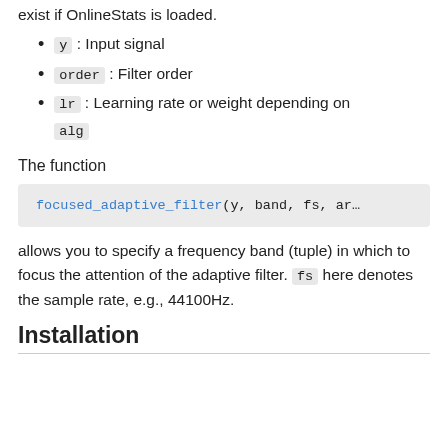exist if OnlineStats is loaded.
y : Input signal
order : Filter order
lr : Learning rate or weight depending on alg
The function
focused_adaptive_filter(y, band, fs, ar...
allows you to specify a frequency band (tuple) in which to focus the attention of the adaptive filter. fs here denotes the sample rate, e.g., 44100Hz.
Installation